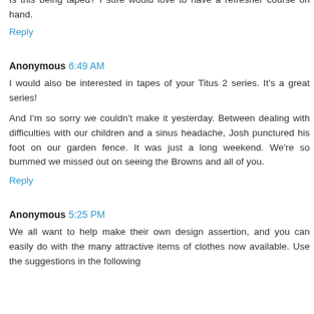Is this being taped? I sure would love to have a refresher course on hand.
Reply
Anonymous 6:49 AM
I would also be interested in tapes of your Titus 2 series. It's a great series!
And I'm so sorry we couldn't make it yesterday. Between dealing with difficulties with our children and a sinus headache, Josh punctured his foot on our garden fence. It was just a long weekend. We're so bummed we missed out on seeing the Browns and all of you.
Reply
Anonymous 5:25 PM
We all want to help make their own design assertion, and you can easily do with the many attractive items of clothes now available. Use the suggestions in the following